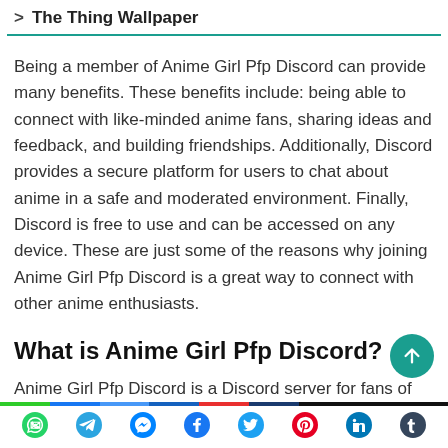> The Thing Wallpaper
Being a member of Anime Girl Pfp Discord can provide many benefits. These benefits include: being able to connect with like-minded anime fans, sharing ideas and feedback, and building friendships. Additionally, Discord provides a secure platform for users to chat about anime in a safe and moderated environment. Finally, Discord is free to use and can be accessed on any device. These are just some of the reasons why joining Anime Girl Pfp Discord is a great way to connect with other anime enthusiasts.
What is Anime Girl Pfp Discord?
Anime Girl Pfp Discord is a Discord server for fans of